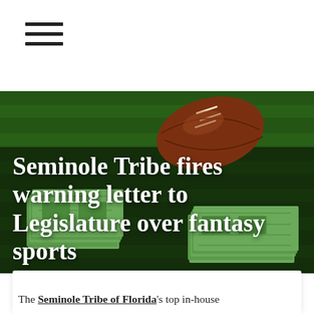☰ (hamburger menu icon)
[Figure (photo): A football resting on green grass turf with stacks of US dollar bills spread in front of it, serving as the hero image background for the article headline.]
Seminole Tribe fires warning letter to Legislature over fantasy sports
The Seminole Tribe of Florida's top in-house